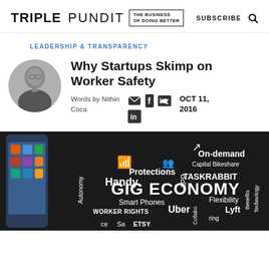TRIPLE PUNDIT { THE BUSINESS OF DOING BETTER } SUBSCRIBE 🔍
LEADERSHIP & TRANSPARENCY
[Figure (photo): Circular black-and-white author headshot of a young man in a suit, profile view]
Why Startups Skimp on Worker Safety
Words by Nithin Coca
OCT 11, 2016
[Figure (photo): Feature image showing a smartphone with gig economy word cloud including terms: GIG ECONOMY, On-demand, Capital Bikeshare, TASKRABBIT, Protections, Handy, Autonomy, Smart Phones, Uber, WORKER RIGHTS, Flexibility, Lyft, Collaboration, ETSY, APP, Benefits, Technology]